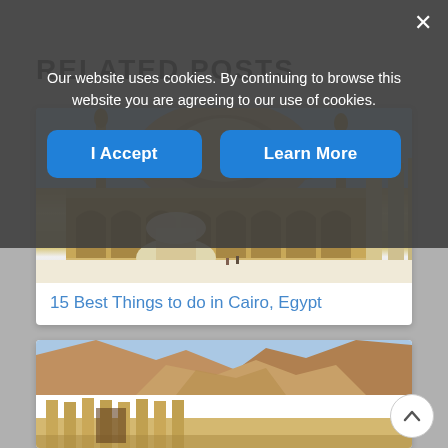RELATED POSTS
[Figure (screenshot): Cookie consent overlay with message 'Our website uses cookies. By continuing to browse this website you are agreeing to our use of cookies.' and two blue buttons labeled 'I Accept' and 'Learn More', with a close X button.]
[Figure (photo): Photo of the Muhammad Ali Mosque (Alabaster Mosque) in Cairo, Egypt, showing the courtyard with a central ablution fountain, arched colonnades, minarets, and large domes under a blue sky.]
15 Best Things to do in Cairo, Egypt
[Figure (photo): Photo of rocky desert cliffs and ancient temple ruins in Luxor, Egypt (Valley of the Kings area), showing stone colonnades and rugged limestone mountains under a blue sky.]